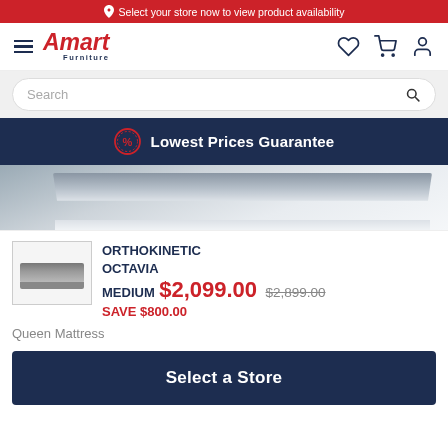Select your store now to view product availability
[Figure (logo): Amart Furniture logo with hamburger menu and nav icons (heart, cart, user)]
Search
Lowest Prices Guarantee
[Figure (photo): Mattress product image partial view]
ORTHOKINETIC OCTAVIA MEDIUM
$2,099.00  $2,899.00  SAVE $800.00
Queen Mattress
Select a Store